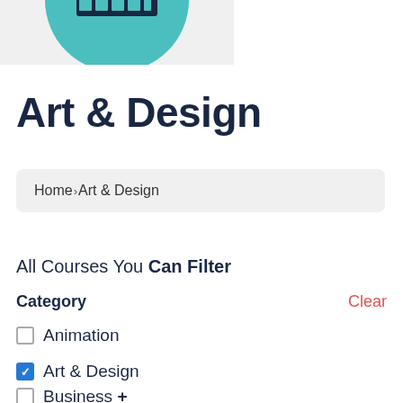[Figure (illustration): Partial view of a teal/turquoise circular graphic with a dark rectangle in the center, cropped at top of the page]
Art & Design
Home > Art & Design
All Courses You Can Filter
Category   Clear
Animation (unchecked)
Art & Design (checked)
Business + (unchecked)